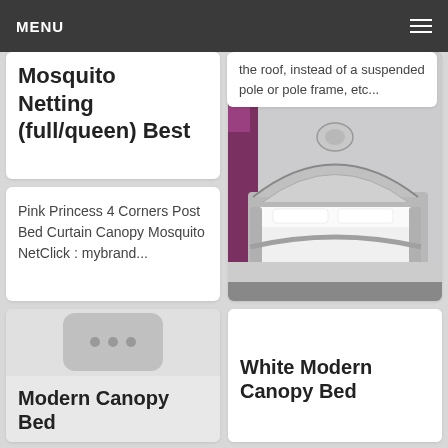MENU
Mosquito Netting (full/queen) Best
the roof, instead of a suspended pole or pole frame, etc...
Pink Princess 4 Corners Post Bed Curtain Canopy Mosquito NetClick : mybrand...
[Figure (photo): Ornate silver baroque-style canopy bed with white bedding, purple curtains and floral wallpaper]
[Figure (other): Loading/placeholder icon with three dots inside a rounded rectangle]
Modern Canopy Bed
White Modern Canopy Bed